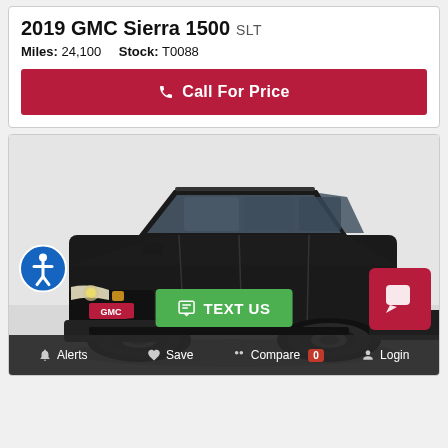2019 GMC Sierra 1500 SLT
Miles: 24,100   Stock: T0088
Call For Price
[Figure (photo): Black GMC SUV (Terrain) front three-quarter view on white/grey background. Accessibility icon visible lower left. Bottom toolbar with Alerts, Save, Compare (0 badge), Login. Green TEXT US button and red chat button overlaid.]